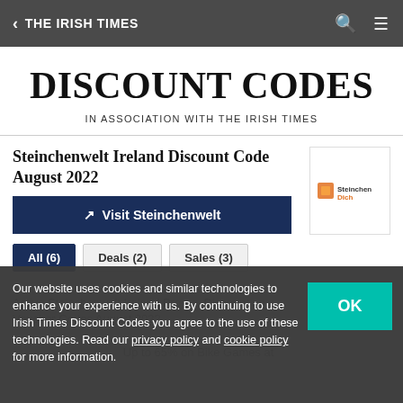< THE IRISH TIMES
DISCOUNT CODES
IN ASSOCIATION WITH THE IRISH TIMES
Steinchenwelt Ireland Discount Code August 2022
Visit Steinchenwelt
All (6)
Deals (2)
Sales (3)
Our website uses cookies and similar technologies to enhance your experience with us. By continuing to use Irish Times Discount Codes you agree to the use of these technologies. Read our privacy policy and cookie policy for more information.